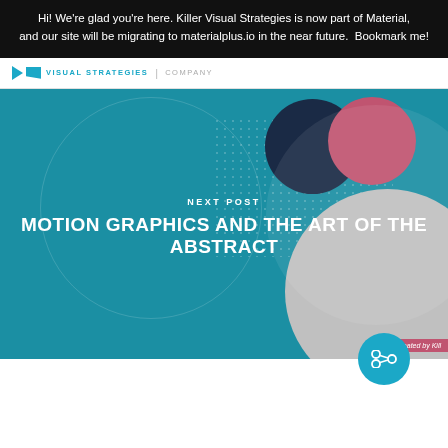Hi! We're glad you're here. Killer Visual Strategies is now part of Material, and our site will be migrating to materialplus.io in the near future.  Bookmark me!
VISUAL STRATEGIES | COMPANY
[Figure (screenshot): Hero banner with teal background, abstract circles in dark navy and pink/magenta, dotted pattern, text reading NEXT POST and MOTION GRAPHICS AND THE ART OF THE ABSTRACT, Created by Killer tag in bottom right, share button below]
MOTION GRAPHICS AND THE ART OF THE ABSTRACT
NEXT POST